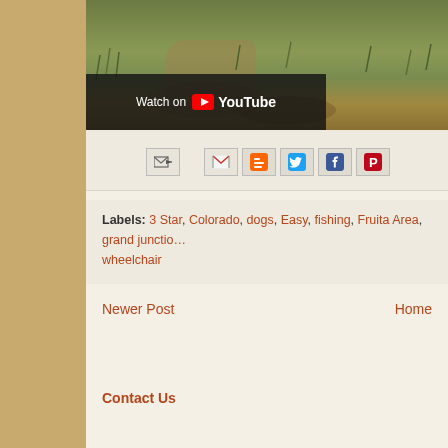[Figure (screenshot): YouTube video thumbnail showing a grassy outdoor trail scene with 'Watch on YouTube' overlay at the bottom left]
[Figure (infographic): Social sharing icons row: email forward icon, Gmail icon, Blogger icon, Twitter icon, Facebook icon, Pinterest icon]
Labels: 3 Star, Colorado, dogs, Easy, fishing, Fruita Area, grand junction, wheelchair
Newer Post
Home
Contact Us